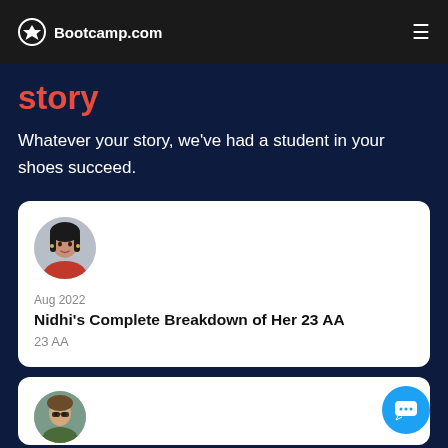Bootcamp.com
story
Whatever your story, we've had a student in your shoes succeed.
[Figure (photo): Profile photo of Nidhi, a young woman with dark hair, circular avatar]
Aug 2022
Nidhi's Complete Breakdown of Her 23 AA
23 AA
[Figure (photo): Partial profile photo of another student, circular avatar, partially visible at bottom]